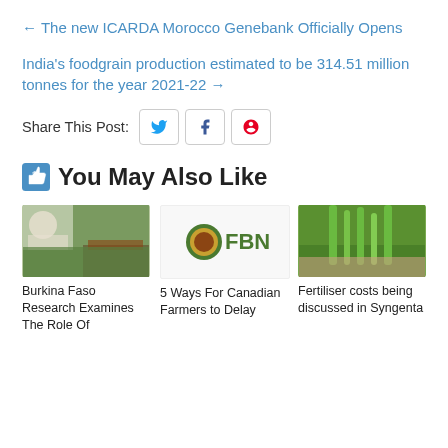← The new ICARDA Morocco Genebank Officially Opens
India's foodgrain production estimated to be 314.51 million tonnes for the year 2021-22 →
Share This Post:
👍 You May Also Like
[Figure (photo): Burkina Faso field research photo with scientists and maize crops]
Burkina Faso Research Examines The Role Of
[Figure (logo): FBN (Farmers Business Network) logo]
5 Ways For Canadian Farmers to Delay
[Figure (photo): Close-up photo of green wheat or barley grain head held by hand]
Fertiliser costs being discussed in Syngenta